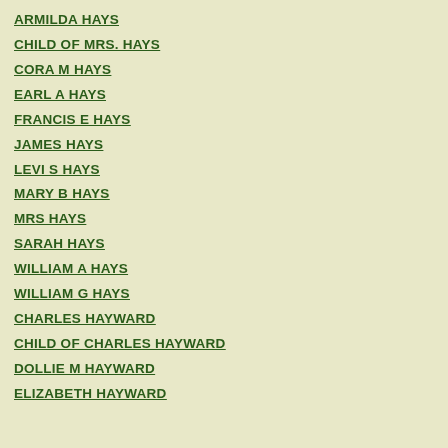ARMILDA HAYS
CHILD OF MRS. HAYS
CORA M HAYS
EARL A HAYS
FRANCIS E HAYS
JAMES HAYS
LEVI S HAYS
MARY B HAYS
MRS HAYS
SARAH HAYS
WILLIAM A HAYS
WILLIAM G HAYS
CHARLES HAYWARD
CHILD OF CHARLES HAYWARD
DOLLIE M HAYWARD
ELIZABETH HAYWARD